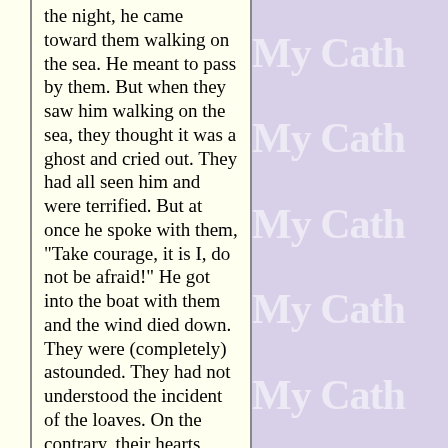the night, he came toward them walking on the sea. He meant to pass by them. But when they saw him walking on the sea, they thought it was a ghost and cried out. They had all seen him and were terrified. But at once he spoke with them, "Take courage, it is I, do not be afraid!" He got into the boat with them and the wind died down. They were (completely) astounded. They had not understood the incident of the loaves. On the contrary, their hearts were hardened. [Taken from MK 6:45-52]

They brought the boy to him. And when he saw him, the spirit
[Figure (other): Repeating 'My Cath' watermark text on purple/lavender background, partially visible on right side of page]